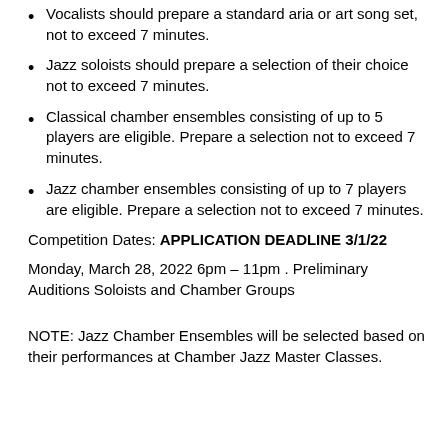Vocalists should prepare a standard aria or art song set, not to exceed 7 minutes.
Jazz soloists should prepare a selection of their choice not to exceed 7 minutes.
Classical chamber ensembles consisting of up to 5 players are eligible. Prepare a selection not to exceed 7 minutes.
Jazz chamber ensembles consisting of up to 7 players are eligible. Prepare a selection not to exceed 7 minutes.
Competition Dates: APPLICATION DEADLINE 3/1/22
Monday, March 28, 2022 6pm – 11pm . Preliminary Auditions Soloists and Chamber Groups
NOTE: Jazz Chamber Ensembles will be selected based on their performances at Chamber Jazz Master Classes.